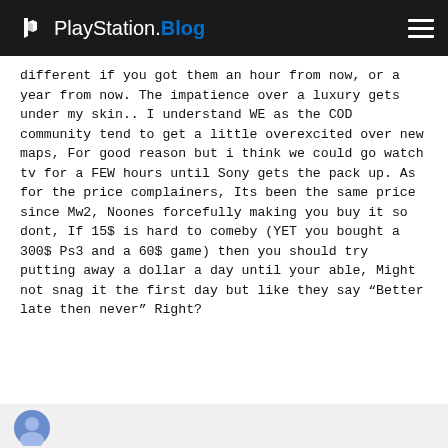PlayStation.Blog
different if you got them an hour from now, or a year from now. The impatience over a luxury gets under my skin.. I understand WE as the COD community tend to get a little overexcited over new maps, For good reason but i think we could go watch tv for a FEW hours until Sony gets the pack up. As for the price complainers, Its been the same price since Mw2, Noones forcefully making you buy it so dont, If 15$ is hard to comeby (YET you bought a 300$ Ps3 and a 60$ game) then you should try putting away a dollar a day until your able, Might not snag it the first day but like they say “Better late then never” Right?